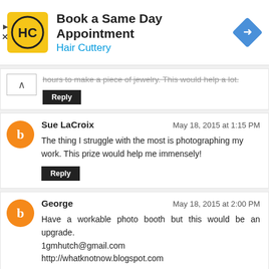[Figure (infographic): Hair Cuttery advertisement banner with logo, 'Book a Same Day Appointment' heading, 'Hair Cuttery' subtext, and a blue navigation direction icon]
hours to make a piece of jewelry. This would help a lot.
Reply
Sue LaCroix
May 18, 2015 at 1:15 PM
The thing I struggle with the most is photographing my work. This prize would help me immensely!
Reply
George
May 18, 2015 at 2:00 PM
Have a workable photo booth but this would be an upgrade.
1gmhutch@gmail.com
http://whatknotnow.blogspot.com
Reply